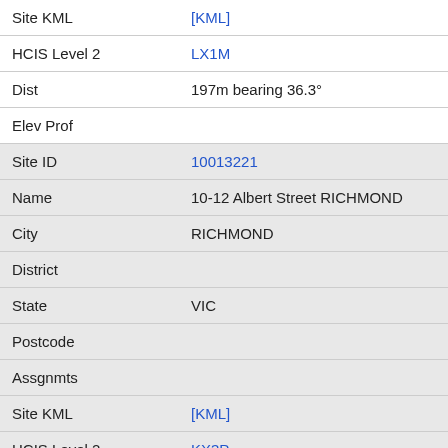| Field | Value |
| --- | --- |
| Site KML | [KML] |
| HCIS Level 2 | LX1M |
| Dist | 197m bearing 36.3° |
| Elev Prof |  |
| Site ID | 10013221 |
| Name | 10-12 Albert Street RICHMOND |
| City | RICHMOND |
| District |  |
| State | VIC |
| Postcode |  |
| Assgnmts |  |
| Site KML | [KML] |
| HCIS Level 2 | KX3P |
| Dist | 348m bearing 321.0° |
| Elev Prof | Elevation Profile |
| Site ID | 10009651 |
| Name | 135-141 Alexandra Avenue SOUTH YARRA |